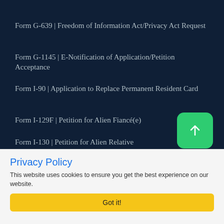Form G-639 | Freedom of Information Act/Privacy Act Request
Form G-1145 | E-Notification of Application/Petition Acceptance
Form I-90 | Application to Replace Permanent Resident Card
Form I-129F | Petition for Alien Fiancé(e)
Form I-130 | Petition for Alien Relative
Form I-131 | Application for Travel Document
Form I-485 | Application to Register Permanent Residence or Adjust Status
Privacy Policy
This website uses cookies to ensure you get the best experience on our website.
Got it!